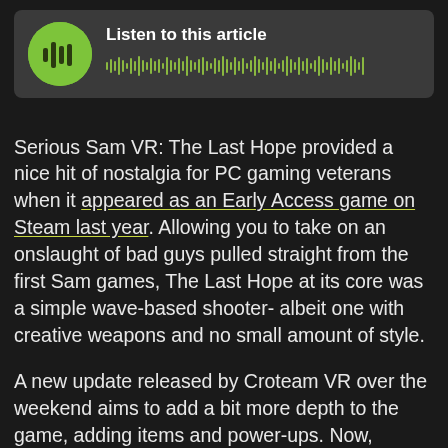[Figure (other): Audio player widget with green circular play button and waveform visualization. Title reads 'Listen to this article'.]
Serious Sam VR: The Last Hope provided a nice hit of nostalgia for PC gaming veterans when it appeared as an Early Access game on Steam last year. Allowing you to take on an onslaught of bad guys pulled straight from the first Sam games, The Last Hope at its core was a simple wave-based shooter- albeit one with creative weapons and no small amount of style.
A new update released by Croteam VR over the weekend aims to add a bit more depth to the game, adding items and power-ups. Now, instead of just choosing the right weapons for the right enemies, players have access to a skill tree with both passive and active abilities. They can purchase these talents alongside guns and ammo in the in-game shop. Completing planets will earn skill points to spend...